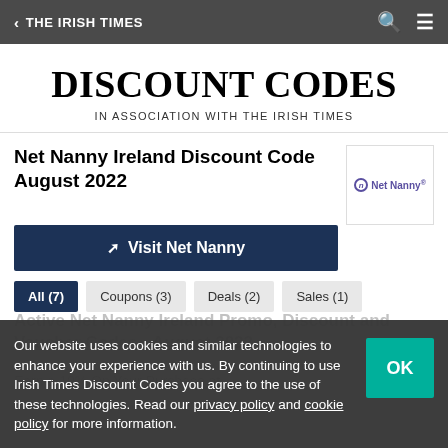< THE IRISH TIMES
DISCOUNT CODES
IN ASSOCIATION WITH THE IRISH TIMES
Net Nanny Ireland Discount Code August 2022
Visit Net Nanny
All (7)
Coupons (3)
Deals (2)
Sales (1)
Active Net Nanny Ireland Promo, Discount and Voucher Codes - August 2022
Our website uses cookies and similar technologies to enhance your experience with us. By continuing to use Irish Times Discount Codes you agree to the use of these technologies. Read our privacy policy and cookie policy for more information.